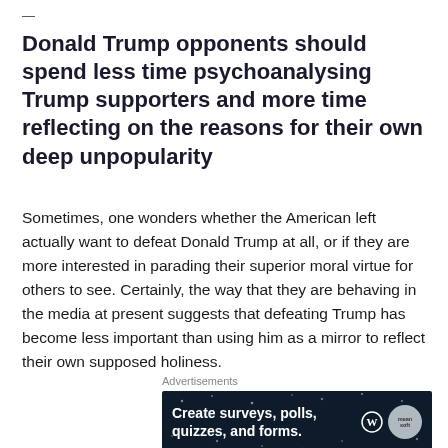—
Donald Trump opponents should spend less time psychoanalysing Trump supporters and more time reflecting on the reasons for their own deep unpopularity
Sometimes, one wonders whether the American left actually want to defeat Donald Trump at all, or if they are more interested in parading their superior moral virtue for others to see. Certainly, the way that they are behaving in the media at present suggests that defeating Trump has become less important than using him as a mirror to reflect their own supposed holiness.
Advertisements
[Figure (other): Advertisement banner with dark navy background reading 'Create surveys, polls, quizzes, and forms.' with WordPress and another brand logo on the right.]